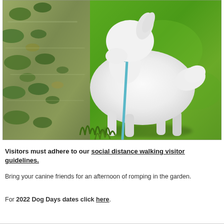[Figure (photo): A white dog on a leash standing at the edge of a pond with lily pads, next to a bright green lawn/garden]
Visitors must adhere to our social distance walking visitor guidelines.
Bring your canine friends for an afternoon of romping in the garden.
For 2022 Dog Days dates click here.